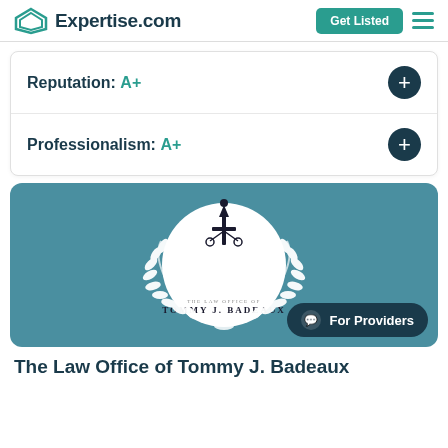Expertise.com
Reputation:  A+
Professionalism:  A+
[Figure (logo): The Law Office of Tommy J. Badeaux logo — circular white badge with fleur-de-lis and scales emblem, surrounded by laurel wreath, on teal background]
The Law Office of Tommy J. Badeaux